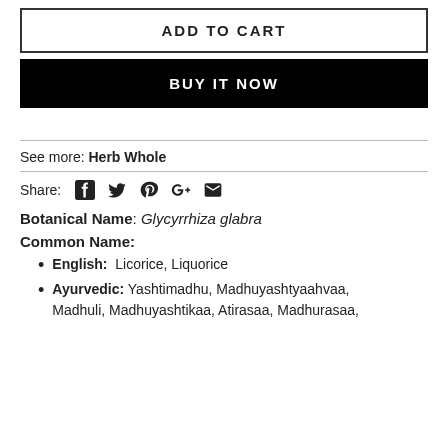ADD TO CART
BUY IT NOW
See more: Herb Whole
Share: [Facebook] [Twitter] [Pinterest] [Google+] [Email]
Botanical Name: Glycyrrhiza glabra
Common Name:
English: Licorice, Liquorice
Ayurvedic: Yashtimadhu, Madhuyashtyaahvaa, Madhuli, Madhuyashtikaa, Atirasaa, Madhurasaa,